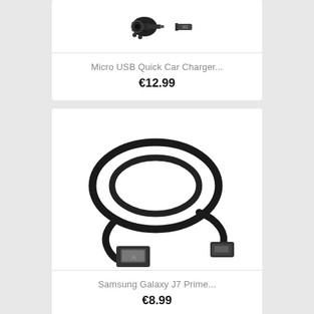[Figure (photo): Micro USB Quick Car Charger product image showing a car charger plug and micro USB connector]
Micro USB Quick Car Charger...
€12.99
[Figure (photo): Samsung Galaxy J7 Prime micro USB cable coiled in a circle with USB-A connector on one end and micro USB connector on the other]
Samsung Galaxy J7 Prime...
€8.99